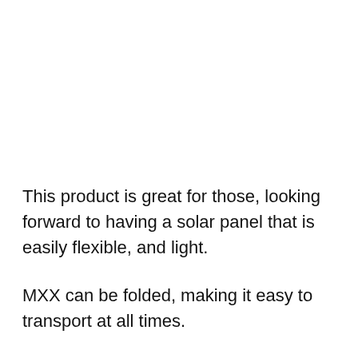This product is great for those, looking forward to having a solar panel that is easily flexible, and light.
MXX can be folded, making it easy to transport at all times.
Just like most of the panels, it can also be resistant to water entry, and fire, amazingly